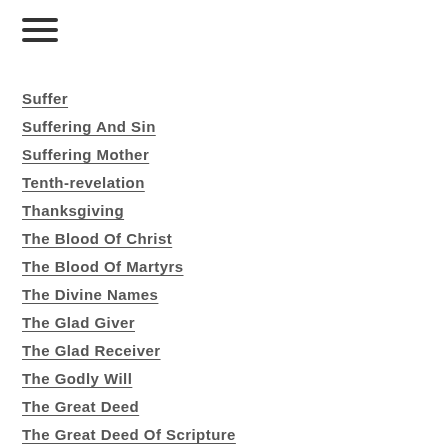Suffer
Suffering And Sin
Suffering Mother
Tenth-revelation
Thanksgiving
The Blood Of Christ
The Blood Of Martyrs
The Divine Names
The Glad Giver
The Glad Receiver
The Godly Will
The Great Deed
The Great Deed Of Scripture
The Ground Of Our Prayer